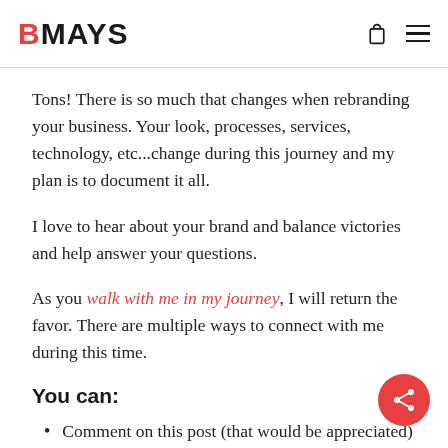BMAYS
Tons! There is so much that changes when rebranding your business. Your look, processes, services, technology, etc...change during this journey and my plan is to document it all.
I love to hear about your brand and balance victories and help answer your questions.
As you walk with me in my journey, I will return the favor. There are multiple ways to connect with me during this time.
You can:
Comment on this post (that would be appreciated)
Chat with me on Twitter: @bmaysdesign